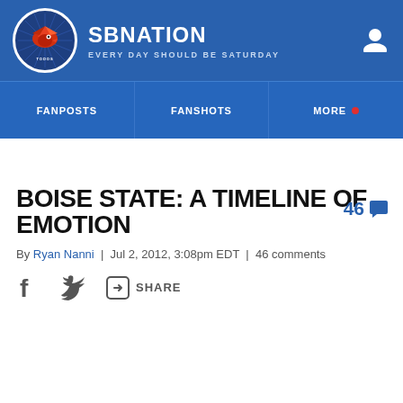SBNation — EVERY DAY SHOULD BE SATURDAY
[Figure (logo): SBNation circular logo with red bird/mascot on dark blue background]
FANPOSTS | FANSHOTS | MORE
46 comments
BOISE STATE: A TIMELINE OF EMOTION
By Ryan Nanni | Jul 2, 2012, 3:08pm EDT | 46 comments
SHARE